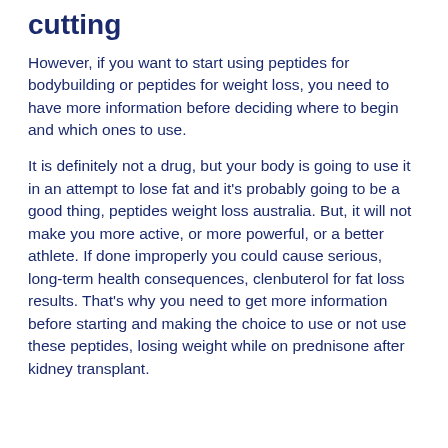cutting
However, if you want to start using peptides for bodybuilding or peptides for weight loss, you need to have more information before deciding where to begin and which ones to use.
It is definitely not a drug, but your body is going to use it in an attempt to lose fat and it's probably going to be a good thing, peptides weight loss australia. But, it will not make you more active, or more powerful, or a better athlete. If done improperly you could cause serious, long-term health consequences, clenbuterol for fat loss results. That's why you need to get more information before starting and making the choice to use or not use these peptides, losing weight while on prednisone after kidney transplant.